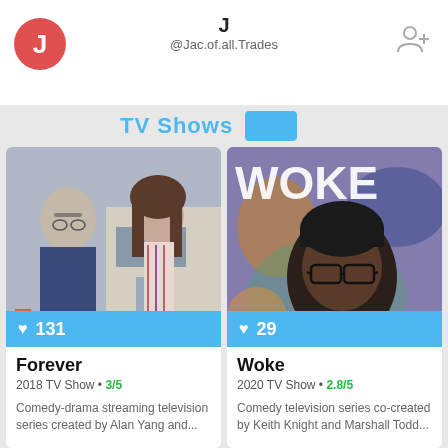J
@Jac.of.all.Trades
TV Shows
[Figure (photo): Two people standing outside a house. Text overlay: Forever (orange). Blue bar showing heart 131.]
[Figure (photo): Man wearing glasses and black cap in front of colorful background with WOKE text. Blue bar showing heart 29.]
Forever
2018 TV Show • 3/5
Comedy-drama streaming television series created by Alan Yang and...
Woke
2020 TV Show • 2.8/5
Comedy television series co-created by Keith Knight and Marshall Todd...